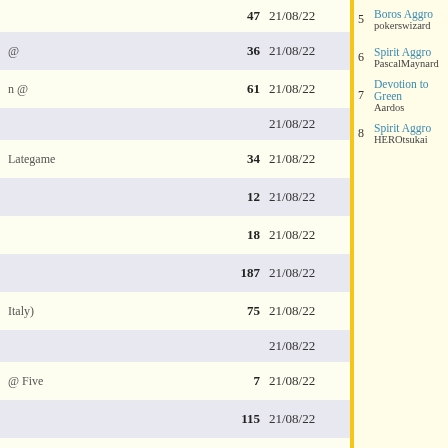| # | Count | Date |
| --- | --- | --- |
|  | 47 | 21/08/22 |
| @ | 36 | 21/08/22 |
| n @ | 61 | 21/08/22 |
|  |  | 21/08/22 |
| Lategame | 34 | 21/08/22 |
|  | 12 | 21/08/22 |
|  | 18 | 21/08/22 |
|  | 187 | 21/08/22 |
| Italy) | 75 | 21/08/22 |
|  |  | 21/08/22 |
| @ Five | 7 | 21/08/22 |
|  | 115 | 21/08/22 |
| Bulgaria) | 12 | 21/08/22 |
|  |  | 21/08/22 |
| stuffinc @ | 31 | 20/08/22 |
| areruya | 15 | 20/08/22 |
| Rank | Deck | Player |
| --- | --- | --- |
| 5 | Boros Aggro | pokerswizard |
| 6 | Spirit Aggro | PascalMaynard |
| 7 | Devotion to Green | Aardos |
| 8 | Spirit Aggro | HEROtsukai |